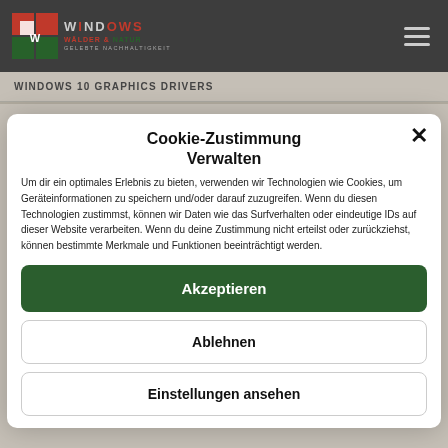[Figure (logo): Website logo with colored squares and text 'WINDOWS' with subtitle 'GELEBTE NACHHALTIGKEIT']
WINDOWS 10 GRAPHICS DRIVERS
Cookie-Zustimmung
Verwalten
Um dir ein optimales Erlebnis zu bieten, verwenden wir Technologien wie Cookies, um Geräteinformationen zu speichern und/oder darauf zuzugreifen. Wenn du diesen Technologien zustimmst, können wir Daten wie das Surfverhalten oder eindeutige IDs auf dieser Website verarbeiten. Wenn du deine Zustimmung nicht erteilst oder zurückziehst, können bestimmte Merkmale und Funktionen beeinträchtigt werden.
Akzeptieren
Ablehnen
Einstellungen ansehen